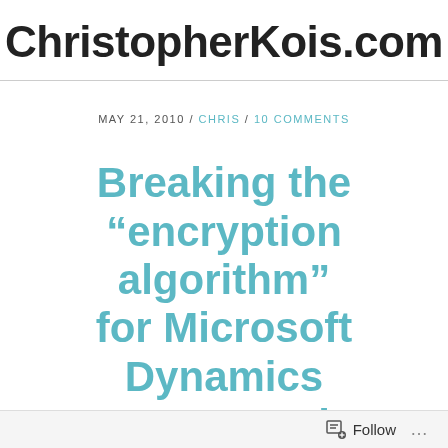ChristopherKois.com
MAY 21, 2010 / CHRIS / 10 COMMENTS
Breaking the “encryption algorithm” for Microsoft Dynamics GP – Dexterity Encryption